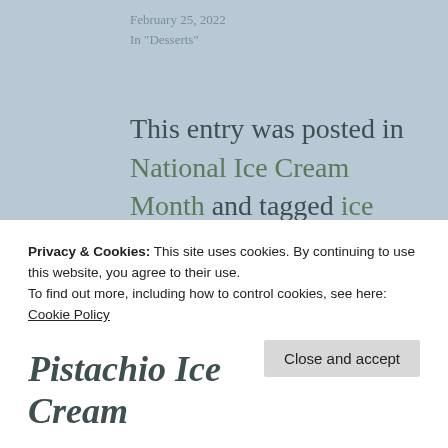February 25, 2022
In "Desserts"
This entry was posted in National Ice Cream Month and tagged ice cream, kitchen tools, pistachios, summer dessert. Bookmark the permalink.
Privacy & Cookies: This site uses cookies. By continuing to use this website, you agree to their use.
To find out more, including how to control cookies, see here: Cookie Policy
Close and accept
Pistachio Ice Cream